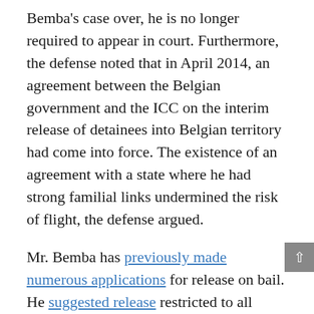Bemba's case over, he is no longer required to appear in court. Furthermore, the defense noted that in April 2014, an agreement between the Belgian government and the ICC on the interim release of detainees into Belgian territory had come into force. The existence of an agreement with a state where he had strong familial links undermined the risk of flight, the defense argued.
Mr. Bemba has previously made numerous applications for release on bail. He suggested release restricted to all periods of judicial recess at the court or a more lenient detention regime consisting of his being placed in a safe house in the Netherlands, where he would